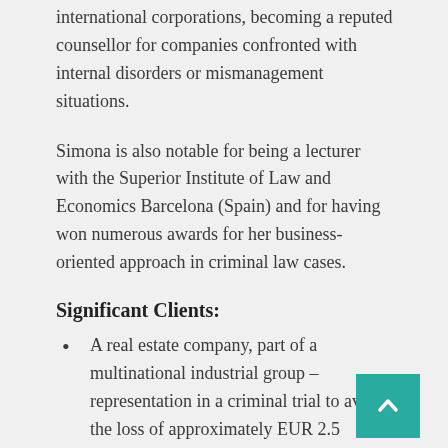international corporations, becoming a reputed counsellor for companies confronted with internal disorders or mismanagement situations.
Simona is also notable for being a lecturer with the Superior Institute of Law and Economics Barcelona (Spain) and for having won numerous awards for her business-oriented approach in criminal law cases.
Significant Clients:
A real estate company, part of a multinational industrial group – representation in a criminal trial to avoid the loss of approximately EUR 2.5 million